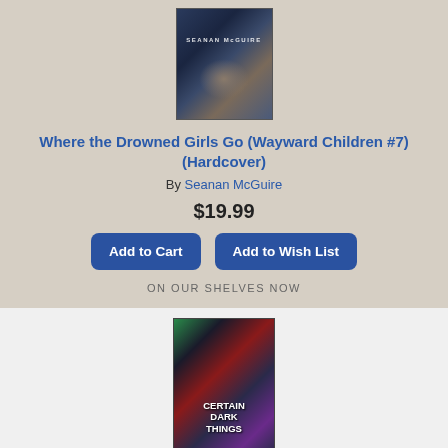[Figure (illustration): Book cover for 'Where the Drowned Girls Go' by Seanan McGuire - dark blue/navy tones with fantasy imagery]
Where the Drowned Girls Go (Wayward Children #7) (Hardcover)
By Seanan McGuire
$19.99
Add to Cart
Add to Wish List
ON OUR SHELVES NOW
[Figure (illustration): Book cover for 'Certain Dark Things' by Silvia Moreno-Garcia - colorful with woman, green and orange sci-fi/fantasy imagery]
Certain Dark Things: A Novel (Paperback)
By Silvia Moreno-Garcia
$17.99